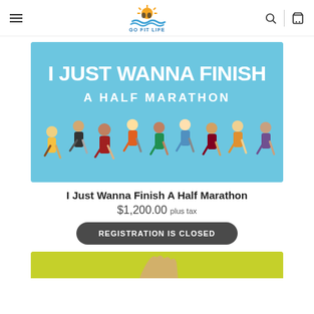Go Fit Life — navigation header with menu, logo, search, and cart icons
[Figure (illustration): Illustration of diverse runners on a blue background with bold white text 'I JUST WANNA FINISH A HALF MARATHON']
I Just Wanna Finish A Half Marathon
$1,200.00 plus tax
REGISTRATION IS CLOSED
[Figure (illustration): Bottom partial image strip with yellow-green background, partially visible]